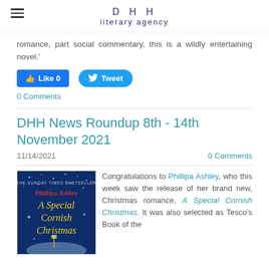DHH literary agency
romance, part social commentary, this is a wildly entertaining novel.'
[Figure (screenshot): Facebook Like button showing 0 likes and Twitter Tweet button]
0 Comments
DHH News Roundup 8th - 14th November 2021
11/14/2021   0 Comments
[Figure (photo): Book cover: A Special Cornish Christmas by Phillipa Ashley, The Sunday Times Bestseller, showing a blue winter scene with lights]
Congratulations to Phillipa Ashley, who this week saw the release of her brand new, Christmas romance, A Special Cornish Christmas. It was also selected as Tesco's Book of the